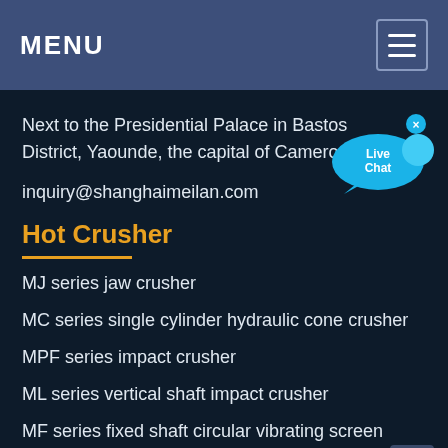MENU
Next to the Presidential Palace in Bastos District, Yaounde, the capital of Cameroon
inquiry@shanghaimeilan.com
[Figure (other): Live Chat widget button with blue speech bubble icon and close X button]
Hot Crusher
MJ series jaw crusher
MC series single cylinder hydraulic cone crusher
MPF series impact crusher
ML series vertical shaft impact crusher
MF series fixed shaft circular vibrating screen
MCD series vibrating feeder